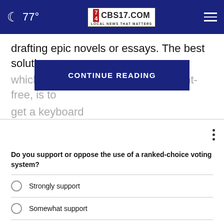🌙 77° | CBS17.COM LOCAL NEWS THAT MATTERS
drafting epic novels or essays. The best solution, which will also … rint-free, is to get a keyboard
CONTINUE READING
Do you support or oppose the use of a ranked-choice voting system?
Strongly support
Somewhat support
Somewhat oppose
Strongly oppose
Other / No opinion